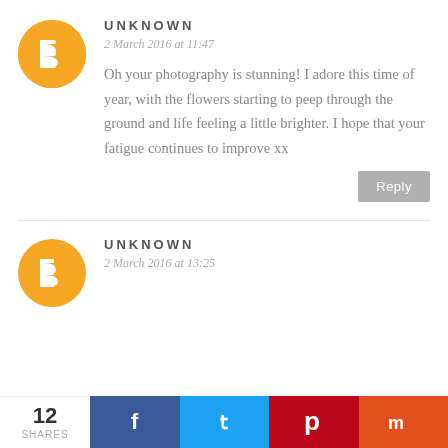[Figure (logo): Blogger avatar icon - orange circle with white B symbol]
UNKNOWN
2 March 2016 at 11:47
Oh your photography is stunning! I adore this time of year, with the flowers starting to peep through the ground and life feeling a little brighter. I hope that your fatigue continues to improve xx
Reply
[Figure (logo): Blogger avatar icon - orange circle with white B symbol]
UNKNOWN
2 March 2016 at 13:25
[Figure (infographic): Social sharing bar: 12 SHARES, Facebook, Twitter, Pinterest, Mix buttons]